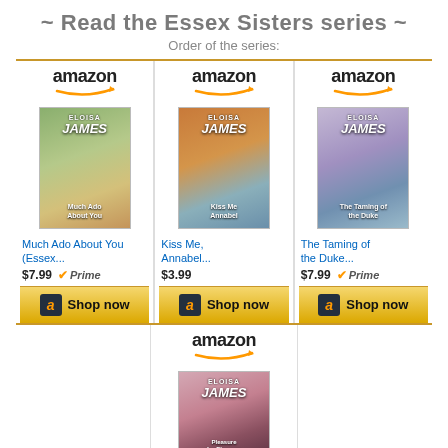~ Read the Essex Sisters series ~
Order of the series:
[Figure (infographic): Amazon product listing showing 4 books in the Essex Sisters series by Eloisa James. Three books shown in top row: 'Much Ado About You (Essex...) $7.99 Prime Shop now', 'Kiss Me, Annabel... $3.99 Shop now', 'The Taming of the Duke... $7.99 Prime Shop now'. One book shown in bottom row center: partial view of fourth book. Each cell has an Amazon logo, book cover image, title link, price, and golden Shop now button.]
Much Ado About You (Essex... $7.99 Prime
Kiss Me, Annabel... $3.99
The Taming of the Duke... $7.99 Prime